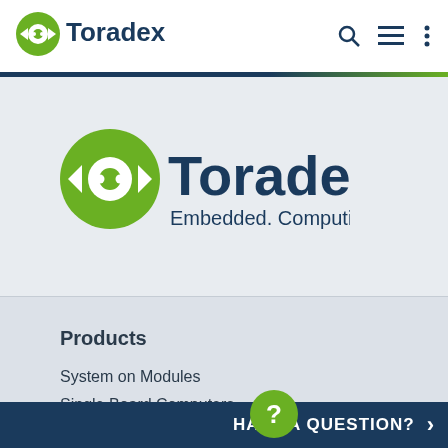[Figure (logo): Toradex logo in navigation bar — green circular icon with white arrows and blue 'Toradex' wordmark, with search, hamburger menu, and vertical dots icons on the right]
[Figure (logo): Large Toradex logo centered in hero section — green circular icon with white arrows and blue 'Toradex' wordmark, with tagline 'Embedded. Computing.' beneath]
Products
System on Modules
Single Board Computers
Torizon
HAVE A QUESTION?